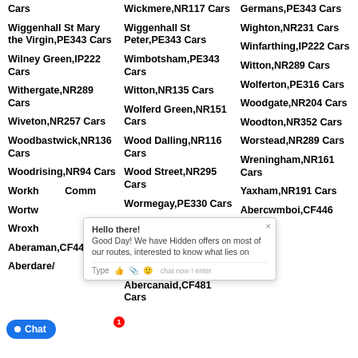Wickmere,NR117 Cars
Germans,PE343 Cars
Wiggenhall St Mary the Virgin,PE343 Cars
Wiggenhall St Peter,PE343 Cars
Wighton,NR231 Cars
Wilney Green,IP222 Cars
Wimbotsham,PE343 Cars
Winfarthing,IP222 Cars
Withergate,NR289 Cars
Witton,NR135 Cars
Witton,NR289 Cars
Wiveton,NR257 Cars
Wolferd Green,NR151 Cars
Wolferton,PE316 Cars
Woodbastwick,NR136 Cars
Wood Dalling,NR116 Cars
Woodgate,NR204 Cars
Woodrising,NR94 Cars
Wood Street,NR295 Cars
Woodton,NR352 Cars
Workhouse Common Cars
Wormegay,PE330 Cars
Worstead,NR289 Cars
Wortwell Cars
Wramplingham,NR180 Cars
Wreningham,NR161 Cars
Wroxham Cars
Wymondham,NR180 Cars
Yaxham,NR191 Cars
Aberaman,CF446 Cars
Abercanaid,CF481 Cars
Abercwmboi,CF446 Cars
Aberdare/
[Figure (screenshot): Chat popup overlay saying 'Hello there! Good Day! We have Hidden offers on most of our routes, interested to know what lies on' with a text input row and icons.]